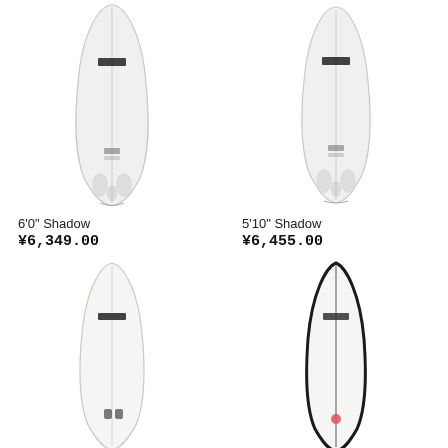[Figure (photo): White surfboard (6'0" Shadow) viewed from above, with fin boxes and logo visible, against white background]
[Figure (photo): White surfboard (5'10" Shadow) viewed from above, with fin boxes and logo visible, against white background]
6'0" Shadow
¥6,349.00
5'10" Shadow
¥6,455.00
[Figure (photo): White surfboard viewed from above, slightly narrower shape with fin boxes visible, against white background]
[Figure (photo): White surfboard with dark outline/rail view, single fin setup with pink/red dot near tail, against white background]